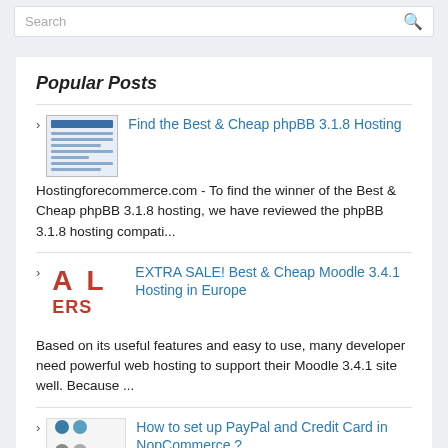Search
Popular Posts
Find the Best & Cheap phpBB 3.1.8 Hosting — Hostingforecommerce.com - To find the winner of the Best & Cheap phpBB 3.1.8 hosting, we have reviewed the phpBB 3.1.8 hosting compati...
EXTRA SALE! Best & Cheap Moodle 3.4.1 Hosting in Europe — Based on its useful features and easy to use, many developer need powerful web hosting to support their Moodle 3.4.1 site well. Because ...
How to set up PayPal and Credit Card in NopCommerce ? — PayPal is one of the most widely accepted methods of online payment in the world; it only makes sense that many e-commerce sites use it as ...